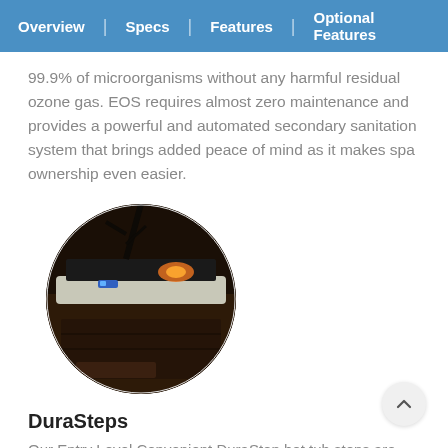Overview | Specs | Features | Optional Features
99.9% of microorganisms without any harmful residual ozone gas. EOS requires almost zero maintenance and provides a powerful and automated secondary sanitation system that brings added peace of mind as it makes spa ownership even easier.
[Figure (photo): Circular cropped photo of a hot tub/spa unit with a dark brown cabinet, illuminated control panel, and orange accent lighting, taken in a dimly lit setting.]
DuraSteps
Our Entry Level Convenient DuraStep hot tub steps are